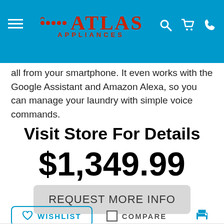Atlas Appliances
all from your smartphone. It even works with the Google Assistant and Amazon Alexa, so you can manage your laundry with simple voice commands.
Visit Store For Details
$1,349.99
REQUEST MORE INFO
WISHLIST   COMPARE